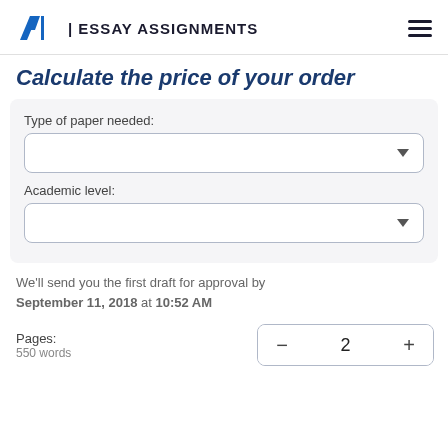EA | ESSAY ASSIGNMENTS
Calculate the price of your order
Type of paper needed:
Academic level:
We'll send you the first draft for approval by September 11, 2018 at 10:52 AM
Pages:
550 words